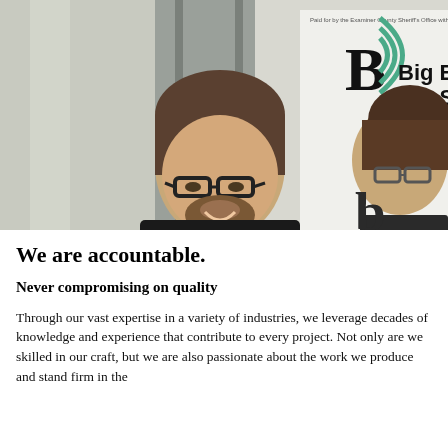[Figure (photo): Two people standing in front of a banner that reads 'Big B Big S' with a logo. A man with glasses and a beard is smiling at the center, and a woman with glasses is partially visible on the right.]
We are accountable.
Never compromising on quality
Through our vast expertise in a variety of industries, we leverage decades of knowledge and experience that contribute to every project. Not only are we skilled in our craft, but we are also passionate about the work we produce and stand firm in the